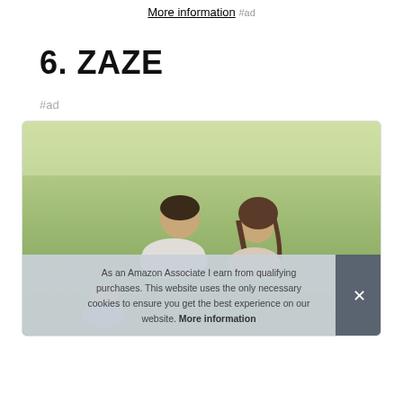More information #ad
6. ZAZE
#ad
[Figure (photo): Photo of a man and woman sitting on grass, looking at something together, with a cookie consent banner overlay at the bottom reading: 'As an Amazon Associate I earn from qualifying purchases. This website uses the only necessary cookies to ensure you get the best experience on our website. More information' with an X close button.]
As an Amazon Associate I earn from qualifying purchases. This website uses the only necessary cookies to ensure you get the best experience on our website. More information